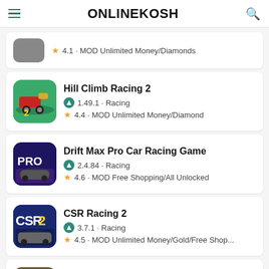ONLINEKOSH
4.1 · MOD Unlimited Money/Diamonds
Hill Climb Racing 2 | 1.49.1 · Racing | 4.4 · MOD Unlimited Money/Diamond
Drift Max Pro Car Racing Game | 2.4.84 · Racing | 4.6 · MOD Free Shopping/All Unlocked
CSR Racing 2 | 3.7.1 · Racing | 4.5 · MOD Unlimited Money/Gold/Free Shop...
Earn To Die 2 | 1.4.39 · Racing | 4.3 · MOD Unlimited Money/Free Shopping